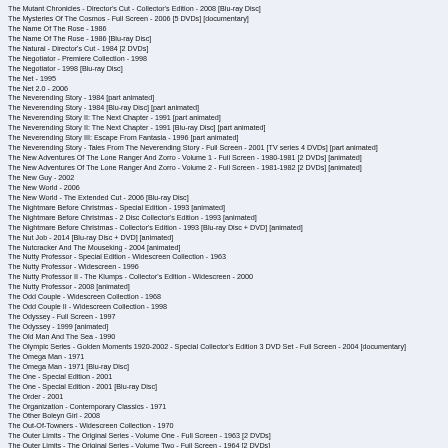The Mutant Chronicles - Director's Cut - Collector's Edition - 2008 [Blu-ray Disc]
The Mysteries Of The Cosmos - Full Screen - 2006 [5 DVDs] [documentary]
The Name Of The Rose - 1986
The Name Of The Rose - 1986 [Blu-ray Disc]
The Natural - Director's Cut - 1984 [2 DVDs]
The Negotiator - Premiere Collection - 1998
The Negotiator - 1998 [Blu-ray Disc]
The Net - 1995
The Net 2.0 - 2006
The Neverending Story - 1984 [part animated]
The Neverending Story - 1984 [Blu-ray Disc] [part animated]
The Neverending Story II: The Next Chapter - 1991 [part animated]
The Neverending Story II: The Next Chapter - 1991 [Blu-ray Disc] [part animated]
The Neverending Story III: Escape From Fantasia - 1996 [part animated]
The Neverending Story - Tales From The Neverending Story - Full Screen - 2001 [TV series 4 DVDs] [part animated]
The New Adventures Of The Lone Ranger And Zorro - Volume 1 - Full Screen - 1980-1981 [2 DVDs] [animated]
The New Adventures Of The Lone Ranger And Zorro - Volume 2 - Full Screen - 1981-1982 [2 DVDs] [animated]
The New Guy - 2002
The New World - 2006
The New World - The Extended Cut - 2006 [Blu-ray Disc]
The Nightmare Before Christmas - Special Edition - 1993 [animated]
The Nightmare Before Christmas - 2 Disc Collector's Edition - 1993 [animated]
The Nightmare Before Christmas - Collector's Edition - 1993 [Blu-ray Disc + DVD] [animated]
The Nut Job - 2014 [Blu-ray Disc + DVD] [animated]
The Nutcracker And The Mouseking - 2004 [animated]
The Nutty Professor - Special Edition - Widescreen Collection - 1963
The Nutty Professor - Widescreen - 1996
The Nutty Professor II - The Klumps - Collector's Edition - Widescreen - 2000
The Nutty Professor - 2008 [animated]
The Odd Couple - Widescreen Collection - 1968
The Odd Couple II - Widescreen Collection - 1998
The Odyssey - Full Screen - 1997
The Odyssey - 1999 [animated]
The Old Man And The Sea - 1990
The Olympic Series - Golden Moments 1920-2002 - Special Collector's Edition 3 DVD Set - Full Screen - 2004 [documentary]
The Omega Man - 1971
The Omega Man - 1971 [Blu-ray Disc]
The One - Special Edition - 2001
The One - Special Edition - 2001 [Blu-ray Disc]
The Order - 2001
The Organization - Contemporary Classics - 1971
The Other Boleyn Girl - 2008
The Out-Of-Towners - Widescreen Collection - 1970
The Outer Limits - The Original Series - Volume One - Full Screen - 1963 [2 DVDs]
The Outer Limits - The Original Series - Volume Two - Full Screen - 1964 [2 DVDs]
The Outer Limits - The Original Series - Volume Three - Full Screen - 1965 [3 DVDs]
The Outer Limits - The New Series - 6 Disc Set - Full Screen - 1995-2002 [6 DVDs]
The Outer Limits - The New Series - Season One - Full Screen - 1995 [5 DVDs]
The Outlaw Josey Wales - Clint Eastwood Collection - 1976
The Outlaw Josey Wales - 1976 [Blu-ray Disc]